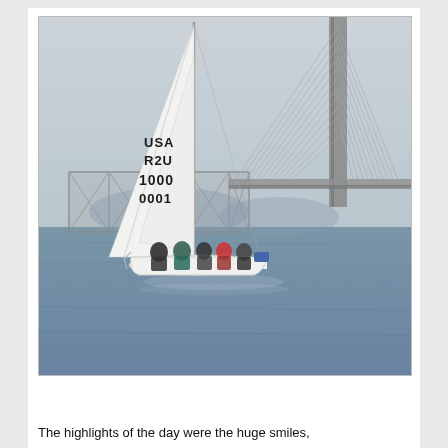[Figure (photo): A white sailboat with sail markings USA R2U 1000 0001 sailing on the water in front of the San Francisco-Oakland Bay Bridge on a cloudy day. Several people are seated in the cockpit of the boat.]
The highlights of the day were the huge smiles,